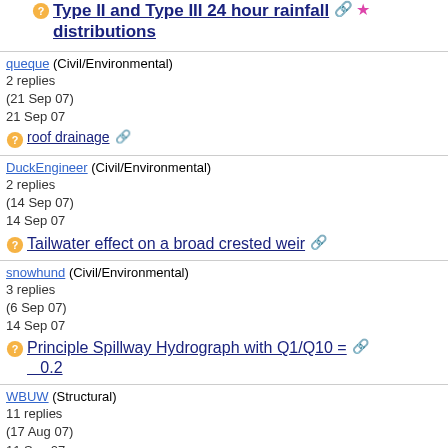Type II and Type III 24 hour rainfall distributions [link] [star]
queque (Civil/Environmental)
2 replies
(21 Sep 07)
21 Sep 07
roof drainage [link]
DuckEngineer (Civil/Environmental)
2 replies
(14 Sep 07)
14 Sep 07
Tailwater effect on a broad crested weir [link]
snowhund (Civil/Environmental)
3 replies
(6 Sep 07)
14 Sep 07
Principle Spillway Hydrograph with Q1/Q10 = 0.2 [link]
WBUW (Structural)
11 replies
(17 Aug 07)
11 Sep 07
Isopluvials vs. m&n values [link] [star]